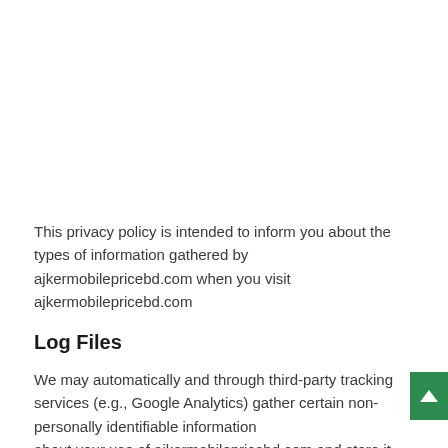This privacy policy is intended to inform you about the types of information gathered by ajkermobilepricebd.com when you visit ajkermobilepricebd.com
Log Files
We may automatically and through third-party tracking services (e.g., Google Analytics) gather certain non-personally identifiable information about your use of ajkermobilepricebd.com and store it in log files.